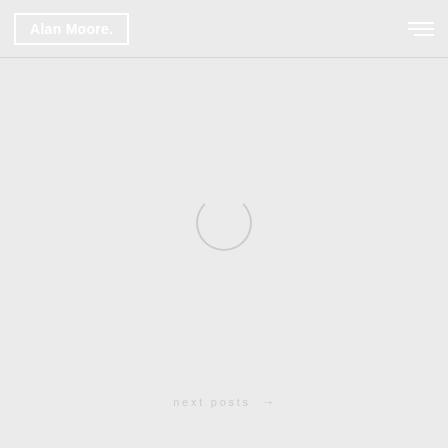Alan Moore.
[Figure (other): Loading spinner: a circle outline with a gap suggesting rotation, centered on the page below the header]
next posts →